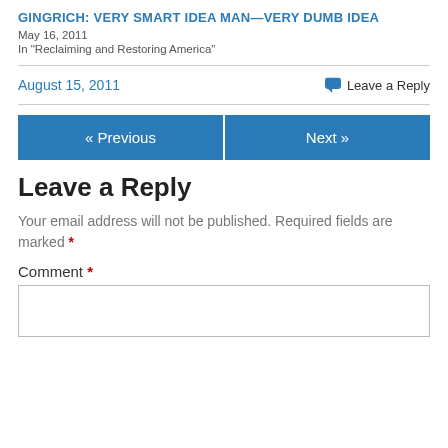GINGRICH: VERY SMART IDEA MAN—VERY DUMB IDEA
May 16, 2011
In "Reclaiming and Restoring America"
August 15, 2011
💬 Leave a Reply
« Previous
Next »
Leave a Reply
Your email address will not be published. Required fields are marked *
Comment *